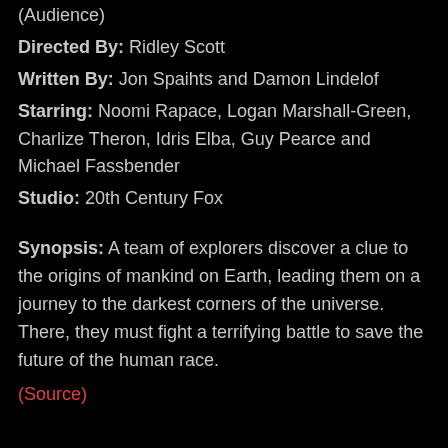Rotten Tomatoes Rating: 74% (Critics) / 67% (Audience)
Directed By: Ridley Scott
Written By: Jon Spaihts and Damon Lindelof
Starring: Noomi Rapace, Logan Marshall-Green, Charlize Theron, Idris Elba, Guy Pearce and Michael Fassbender
Studio: 20th Century Fox
Synopsis: A team of explorers discover a clue to the origins of mankind on Earth, leading them on a journey to the darkest corners of the universe. There, they must fight a terrifying battle to save the future of the human race.
(Source)